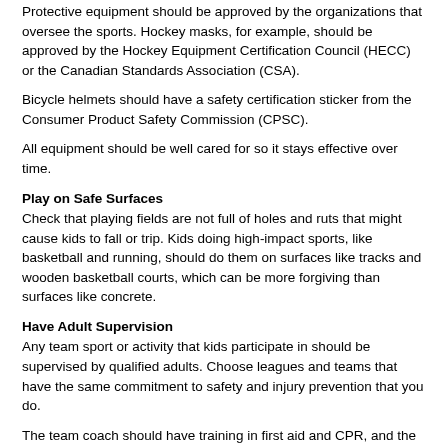Protective equipment should be approved by the organizations that oversee the sports. Hockey masks, for example, should be approved by the Hockey Equipment Certification Council (HECC) or the Canadian Standards Association (CSA).
Bicycle helmets should have a safety certification sticker from the Consumer Product Safety Commission (CPSC).
All equipment should be well cared for so it stays effective over time.
Play on Safe Surfaces
Check that playing fields are not full of holes and ruts that might cause kids to fall or trip. Kids doing high-impact sports, like basketball and running, should do them on surfaces like tracks and wooden basketball courts, which can be more forgiving than surfaces like concrete.
Have Adult Supervision
Any team sport or activity that kids participate in should be supervised by qualified adults. Choose leagues and teams that have the same commitment to safety and injury prevention that you do.
The team coach should have training in first aid and CPR, and the coach's philosophy should promote players' well-being. A coach with a win-at-all-costs attitude may encourage kids to play through injury and may not foster good sportsmanship. Be sure that the coach enforces playing rules and requires the use of safety equipment at all times.
Work with the coach to make sure your kids play sports that match their skill level, size, and physical and emotional maturity.
Be Prepared